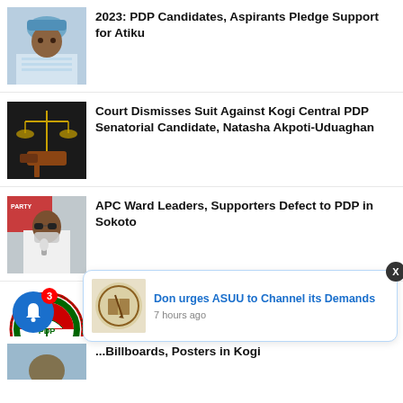[Figure (photo): Photo of Atiku Abubakar, an older man wearing a blue patterned cap and white patterned outfit]
2023: PDP Candidates, Aspirants Pledge Support for Atiku
[Figure (photo): Photo of a scales of justice and a wooden gavel on a dark background]
Court Dismisses Suit Against Kogi Central PDP Senatorial Candidate, Natasha Akpoti-Uduaghan
[Figure (photo): Photo of a man wearing sunglasses and face mask speaking into a microphone at an APC event]
APC Ward Leaders, Supporters Defect to PDP in Sokoto
[Figure (logo): PDP (Peoples Democratic Party) circular logo with green, red and white colors]
Internal Wrangling Won't Affect PDP in 2023 Poll- Official
[Figure (photo): ASUU (Academic Staff Union of Universities) logo/seal with pen and book]
Don urges ASUU to Channel its Demands
7 hours ago
[Figure (photo): Partially visible thumbnail image]
...Billboards, Posters in Kogi